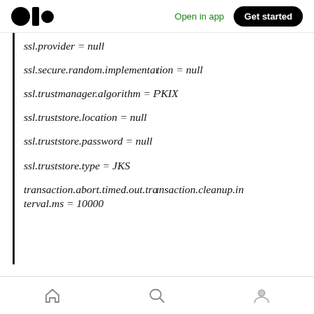Open in app  Get started
ssl.provider = null
ssl.secure.random.implementation = null
ssl.trustmanager.algorithm = PKIX
ssl.truststore.location = null
ssl.truststore.password = null
ssl.truststore.type = JKS
transaction.abort.timed.out.transaction.cleanup.interval.ms = 10000
home  search  profile